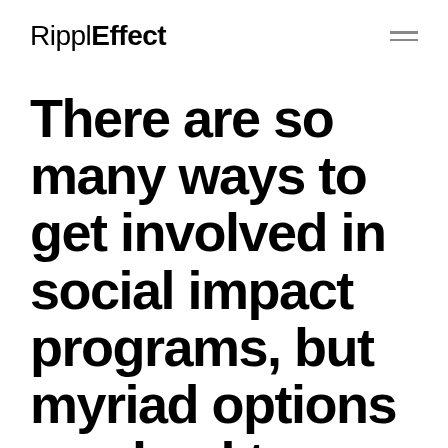RipplEffect
There are so many ways to get involved in social impact programs, but myriad options can lead to analysis paralysis. Here's how to set impact